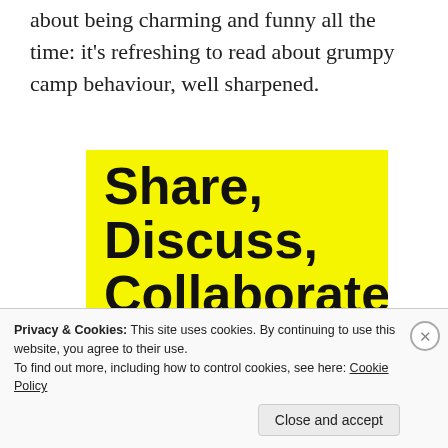about being charming and funny all the time: it’s refreshing to read about grumpy camp behaviour, well sharpened.
[Figure (illustration): Yellow advertisement box with bold black text reading 'Share, Discuss, Collaborate, P2.' and a 'Powered by WordPress' logo in the bottom right corner.]
Privacy & Cookies: This site uses cookies. By continuing to use this website, you agree to their use.
To find out more, including how to control cookies, see here: Cookie Policy
Close and accept